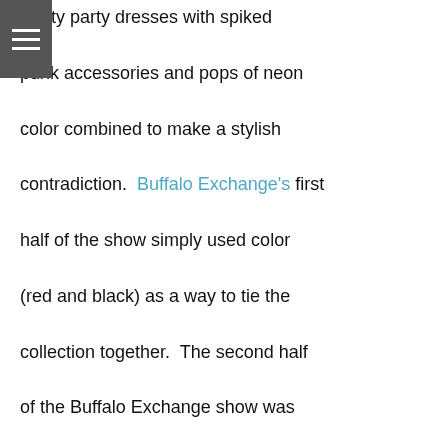[Figure (other): Hamburger menu icon (three white horizontal bars on dark gray background) in top-left corner]
pretty party dresses with spiked punk accessories and pops of neon color combined to make a stylish contradiction.  Buffalo Exchange's first half of the show simply used color (red and black) as a way to tie the collection together.  The second half of the Buffalo Exchange show was more visually interesting than the first.  Buffalo Exchange's second half of the show told a unique story that felt like a